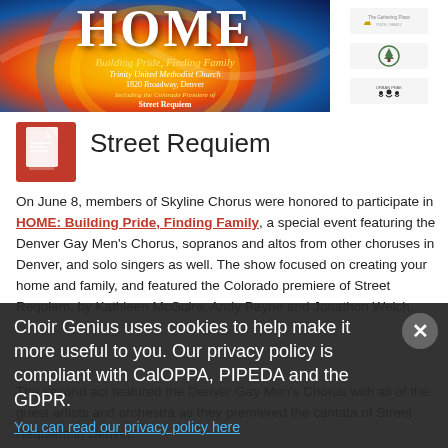[Figure (illustration): Event banner for HOME: Building Pride, Finding Family at Trinity United Methodist Church, with colorful swirling design and logos on the right side]
[Figure (logo): Red document icon (file icon)]
Street Requiem
On June 8, members of Skyline Chorus were honored to participate in HOME: Building Pride, Finding Family, a special event featuring the Denver Gay Men's Chorus, sopranos and altos from other choruses in Denver, and solo singers as well. The show focused on creating your home and family, and featured the Colorado premiere of Street Requiem, by Kathleen McGuire, Andy Payne and Jonathon Welch.

The second act featured the Denver Gay Men's Chorus with all of the guest artists and orchestra as they premiered the cantata of Street Requiem in Denver.
Choir Genius uses cookies to help make it more useful to you. Our privacy policy is compliant with CalOPPA, PIPEDA and the GDPR.
You can read our privacy policy here